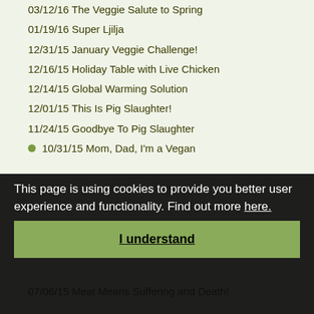03/12/16 The Veggie Salute to Spring
01/19/16 Super Ljilja
12/31/15 January Veggie Challenge!
12/16/15 Holiday Table with Live Chicken
12/14/15 Global Warming Solution
12/01/15 This Is Pig Slaughter!
11/24/15 Goodbye To Pig Slaughter
10/31/15 Mom, Dad, I'm a Vegan
This page is using cookies to provide you better user experience and functionality. Find out more here.
I understand
07/06/15 Meat Means Suffering and Death!